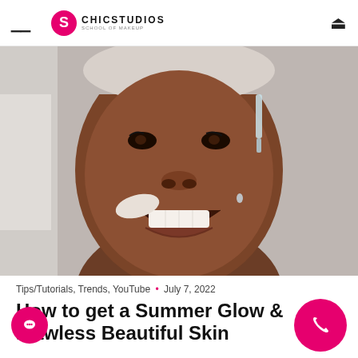CHICSTUDIOS
[Figure (photo): Close-up photo of a smiling Black woman with skincare products applied to her face — a white cream patch on her cheek and a clear serum dropper near her temple — against a light grey background.]
Tips/Tutorials, Trends, YouTube • July 7, 2022
How to get a Summer Glow & Flawless Beautiful Skin